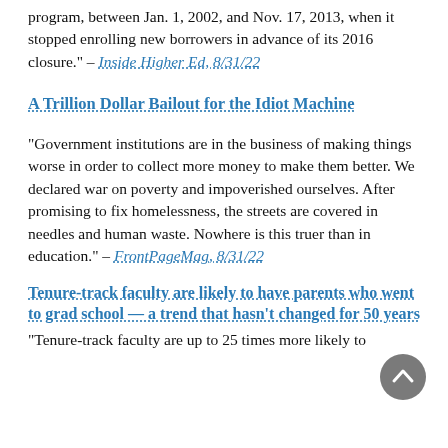program, between Jan. 1, 2002, and Nov. 17, 2013, when it stopped enrolling new borrowers in advance of its 2016 closure." – Inside Higher Ed, 8/31/22
A Trillion Dollar Bailout for the Idiot Machine
"Government institutions are in the business of making things worse in order to collect more money to make them better. We declared war on poverty and impoverished ourselves. After promising to fix homelessness, the streets are covered in needles and human waste. Nowhere is this truer than in education." – FrontPageMag, 8/31/22
Tenure-track faculty are likely to have parents who went to grad school — a trend that hasn't changed for 50 years
"Tenure-track faculty are up to 25 times more likely to...